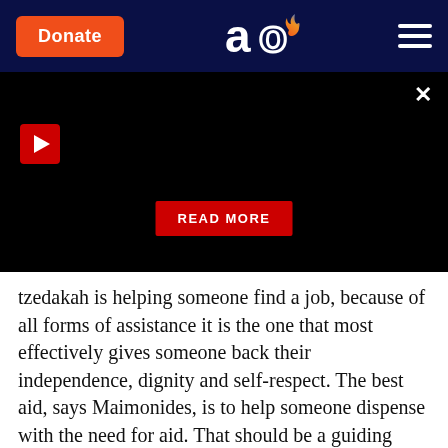Donate | Aish logo | Menu
[Figure (screenshot): Black video panel with red play button, close (X) button, and a red READ MORE button at the bottom center.]
tzedakah is helping someone find a job, because of all forms of assistance it is the one that most effectively gives someone back their independence, dignity and self-respect. The best aid, says Maimonides, is to help someone dispense with the need for aid. That should be a guiding principle for our community in the current recession.
It is a terrible shock to lose your job, however much you know that others are losing theirs, and that it is all